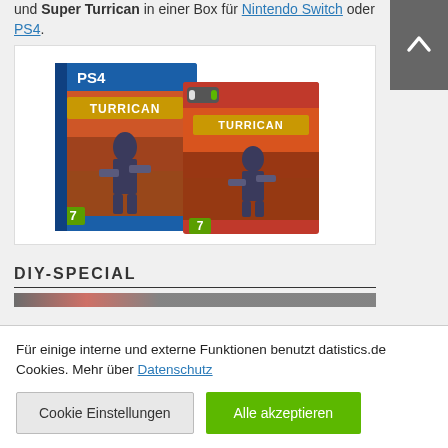und Super Turrican in einer Box für Nintendo Switch oder PS4.
[Figure (photo): Two Turrican game boxes — one PS4 (blue) and one Nintendo Switch (red) — showing the Turrican Flashback cover art with a character holding weapons, age rating 7, displayed side by side.]
DIY-SPECIAL
Für einige interne und externe Funktionen benutzt datistics.de Cookies. Mehr über Datenschutz
Cookie Einstellungen
Alle akzeptieren